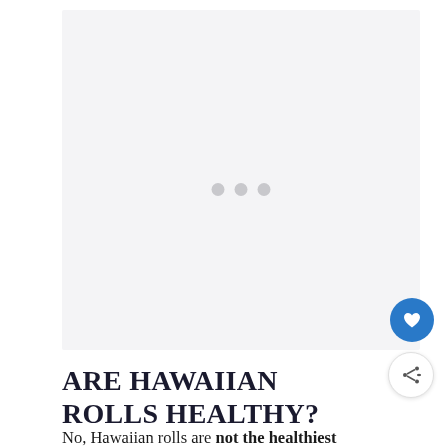[Figure (other): Loading image placeholder with three grey dots in the center on a light grey background]
ARE HAWAIIAN ROLLS HEALTHY?
No, Hawaiian rolls are not the healthiest